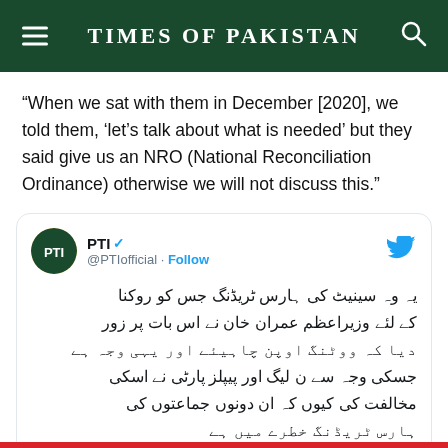TIMES OF PAKISTAN
“When we sat with them in December [2020], we told them, ‘let’s talk about what is needed’ but they said give us an NRO (National Reconciliation Ordinance) otherwise we will not discuss this.”
[Figure (screenshot): Embedded tweet from PTI @PTIofficial with Urdu text and a partial image at the bottom with 'Watch on Twitter' label]